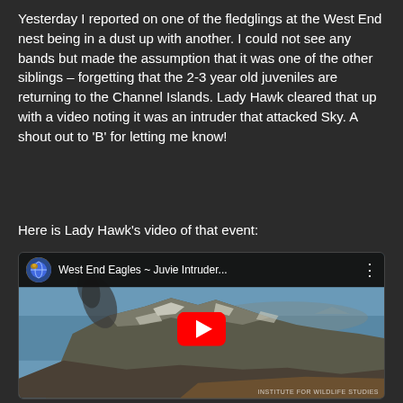Yesterday I reported on one of the fledglings at the West End nest being in a dust up with another. I could not see any bands but made the assumption that it was one of the other siblings – forgetting that the 2-3 year old juveniles are returning to the Channel Islands. Lady Hawk cleared that up with a video noting it was an intruder that attacked Sky. A shout out to 'B' for letting me know!
Here is Lady Hawk's video of that event:
[Figure (screenshot): YouTube video embed thumbnail showing rocky island (Channel Islands) with ocean in background. Video title reads 'West End Eagles ~ Juvie Intruder...' with YouTube channel avatar, three-dot menu, and red YouTube play button overlay. Bottom right watermark reads 'INSTITUTE FOR WILDLIFE STUDIES'.]